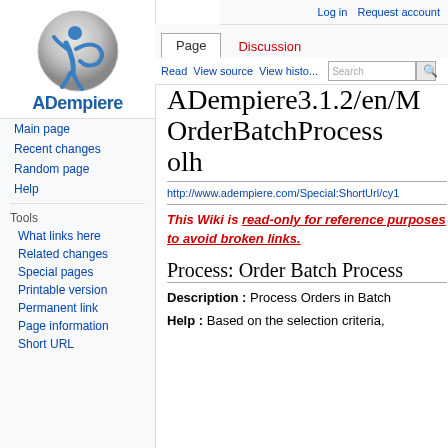Log in  Request account
[Figure (logo): ADempiere globe logo with blue figure and swirl, with 'ADempiere' text below]
Page
Discussion
Read
View source
View history
Search
Main page
Recent changes
Random page
Help
Tools
What links here
Related changes
Special pages
Printable version
Permanent link
Page information
Short URL
ADempiere3.1.2/en/MOrderBatchProcessolh
http://www.adempiere.com/Special:ShortUrl/cy1
This Wiki is read-only for reference purposes to avoid broken links.
Process: Order Batch Process
Description : Process Orders in Batch
Help : Based on the selection criteria,